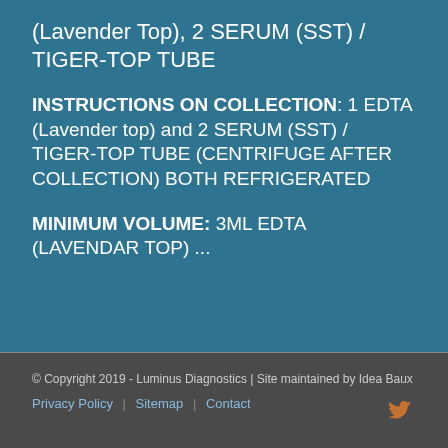(Lavender Top), 2 SERUM (SST) / TIGER-TOP TUBE
INSTRUCTIONS ON COLLECTION: 1 EDTA (Lavender top) and 2 SERUM (SST) / TIGER-TOP TUBE (CENTRIFUGE AFTER COLLECTION) BOTH REFRIGERATED
MINIMUM VOLUME: 3ML EDTA (LAVENDAR TOP) ...
© Copyright 2019 - Luminus Diagnostics | Site maintained by Idea Baux
Privacy Policy  |  Sitemap  |  Contact